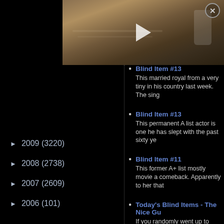[Figure (screenshot): Video thumbnail showing hands typing on a laptop with a coffee cup, with a play button overlay and close (X) button in top right corner]
2009 (3220)
2008 (2738)
2007 (2609)
2006 (101)
Blind Item #13 - This married royal from a very tiny country performed in his country last week. The sing…
Blind Item #13 - This permanent A list actor is one of the rare actors he has slept with the past sixty ye…
Blind Item #11 - This former A+ list mostly movie a… comeback. Apparently to her that…
Today's Blind Items - The Nice Gu… - If you randomly went up to people… actor. 99% of them would say yes…
Blind Item #8 - This foreign born permanent A+ l… former side gig that was not actin…